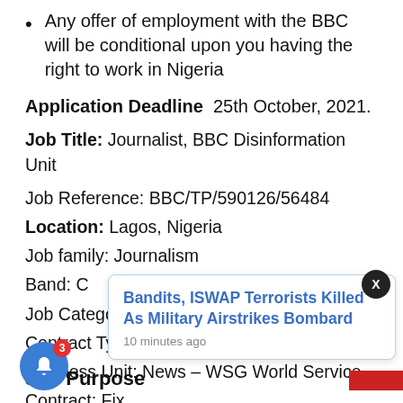Any offer of employment with the BBC will be conditional upon you having the right to work in Nigeria
Application Deadline  25th October, 2021.
Job Title: Journalist, BBC Disinformation Unit
Job Reference: BBC/TP/590126/56484
Location: Lagos, Nigeria
Job family: Journalism
Band: C
Job Category: Journalism
Contract Type: Fixed Term – Full Time
Business Unit: News – WSG World Service
Contract: Fix[ed...]
...3/2022
[Figure (other): Browser notification popup: 'Bandits, ISWAP Terrorists Killed As Military Airstrikes Bombard' - 10 minutes ago]
Job Purpose